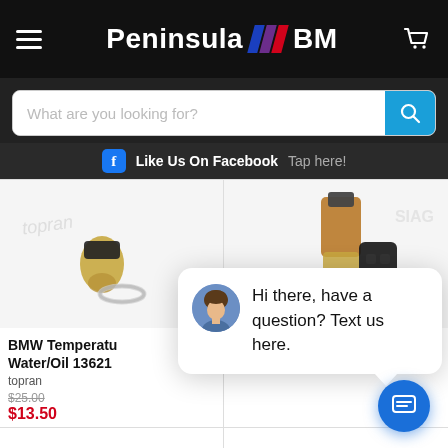[Figure (screenshot): Peninsula BM automotive parts store mobile app screenshot showing header with logo, search bar, Facebook like bar, product grid with BMW temperature sensors, and a chat popup saying 'Hi there, have a question? Text us here.']
Peninsula BM
What are you looking for?
Like Us On Facebook  Tap here!
BMW Temperature Water/Oil 13621
topran
$25.00
$13.50
Hi there, have a question? Text us here.
close